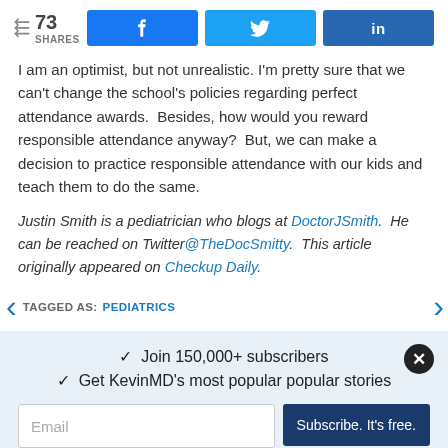73 SHARES | Facebook share | Twitter share | LinkedIn share
I am an optimist, but not unrealistic. I'm pretty sure that we can't change the school's policies regarding perfect attendance awards.  Besides, how would you reward responsible attendance anyway?  But, we can make a decision to practice responsible attendance with our kids and teach them to do the same.
Justin Smith is a pediatrician who blogs at DoctorJSmith.  He can be reached on Twitter @TheDocSmitty.  This article originally appeared on Checkup Daily.
TAGGED AS: PEDIATRICS
✓  Join 150,000+ subscribers
✓  Get KevinMD's most popular stories